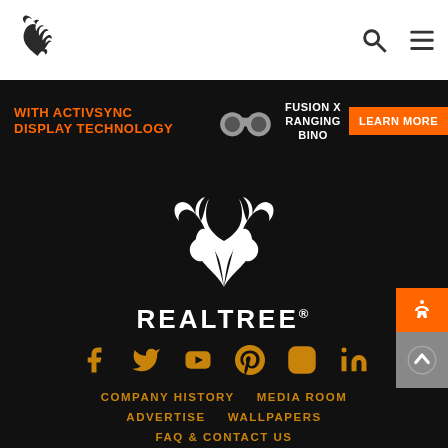[Figure (logo): Realtree antler logo in header bar, dark antlers on white background]
[Figure (infographic): Advertisement banner: 'WITH ACTIVSYNC DISPLAY TECHNOLOGY' in orange bold text, binoculars image, 'FUSION X RANGING BINO' product text, orange 'LEARN MORE' button]
[Figure (logo): Large white Realtree antler logo on black background with REALTREE brand name below]
[Figure (infographic): Social media icons row: Facebook, Twitter, YouTube, Pinterest, Instagram, LinkedIn - all in orange/gold color]
COMPANY HISTORY   MEDIA ROOM
ADVERTISE   WALLPAPERS
FAQ & CONTACT US
ACCESSIBILITY   LEGAL